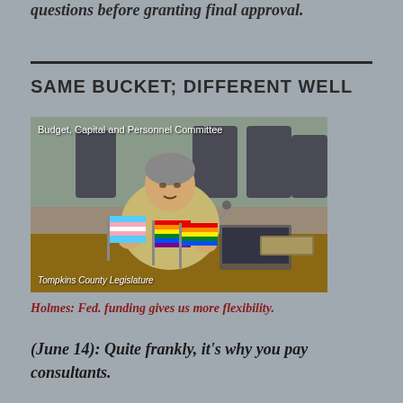questions before granting final approval.
SAME BUCKET; DIFFERENT WELL
[Figure (photo): A woman sitting at a committee table with small pride flags (transgender flag and rainbow flag) visible on the desk. Text overlay reads 'Budget, Capital and Personnel Committee' at top and 'Tompkins County Legislature' at bottom.]
Holmes: Fed. funding gives us more flexibility.
(June 14): Quite frankly, it's why you pay consultants.